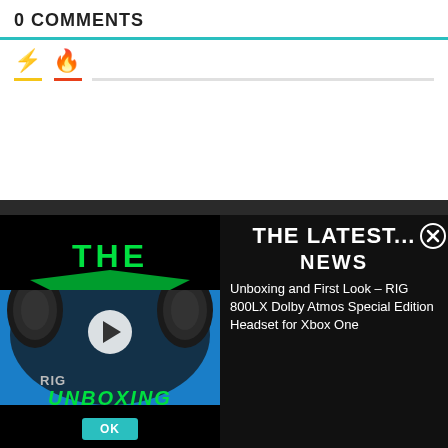0 COMMENTS
[Figure (screenshot): Two social/reaction icons: a yellow lightning bolt and an orange flame, with colored underlines beneath each icon on a white background.]
[Figure (screenshot): A dark video widget showing a RIG 800LX headset thumbnail on the left with a play button and UNBOXING label, and on the right THE LATEST... NEWS header with text: Unboxing and First Look - RIG 800LX Dolby Atmos Special Edition Headset for Xbox One, plus a close/X button and an OK button.]